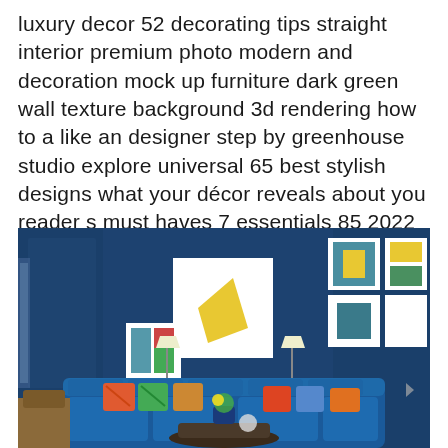luxury decor 52 decorating tips straight interior premium photo modern and decoration mock up furniture dark green wall texture background 3d rendering how to a like an designer step by greenhouse studio explore universal 65 best stylish designs what your décor reveals about you reader s must haves 7 essentials 85 2022 beautiful showcases at wide range flipkart
[Figure (photo): Interior photo of a dark blue luxury living room with a large blue velvet sectional sofa, colorful throw pillows, framed artwork on walls, table lamps, and decorative plants. The room features dark navy blue walls with a glossy finish.]